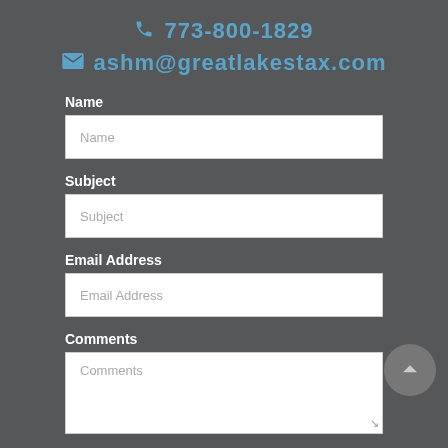773-800-1829
ashm@greatlakestax.com
Name
Name (placeholder)
Subject
Subject (placeholder)
Email Address
Email Address (placeholder)
Comments
Comments (placeholder)